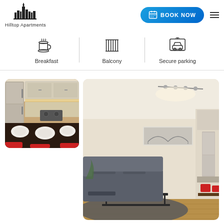[Figure (logo): Hilltop Apartments logo with city skyline silhouette and text]
[Figure (other): Blue Book Now button with calendar icon]
[Figure (other): Breakfast icon (coffee cup and plate)]
Breakfast
[Figure (other): Balcony icon (railing/bars)]
Balcony
[Figure (other): Secure parking icon (car in box)]
Secure parking
[Figure (photo): Apartment kitchen and dining area with red chairs and black table]
[Figure (photo): Apartment living room with grey sofa, coffee table, floor lamp, and kitchen area in background with red chairs]